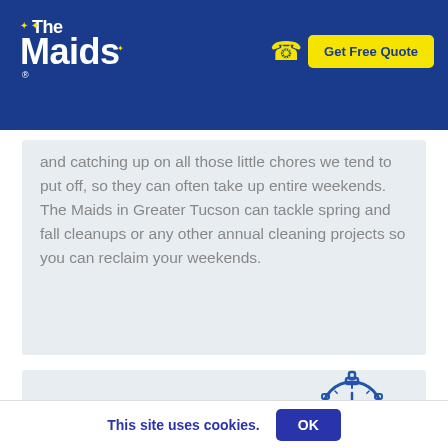The Maids — Get Free Quote
and catching up on all those little chores we tend to put off, so they can often take up entire weekends. The Maids in Greater Tucson can tackle spring and fall cleanups or any other annual cleaning projects so you can reclaim your weekends.
[Figure (illustration): Stopwatch / timer icon in blue outline style]
This site uses cookies.